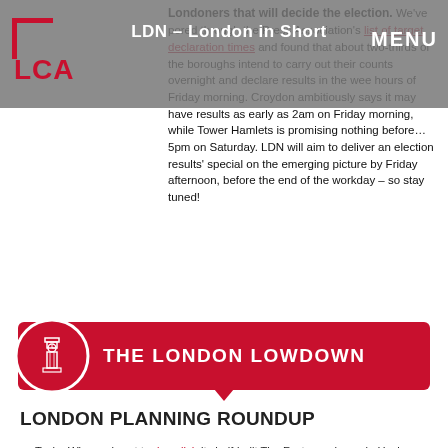LDN – London in Short | MENU
Londoners that will decide the election. We've pored through the Press Association's list of target declaration times and found that about two-thirds of the boroughs intend to carry out their counts overnight and declare results in the wee hours of Friday morning. Croydon ambitiously says it may have results as early as 2am on Friday morning, while Tower Hamlets is promising nothing before… 5pm on Saturday. LDN will aim to deliver an election results' special on the emerging picture by Friday afternoon, before the end of the workday – so stay tuned!
[Figure (infographic): Red banner with Big Ben icon and text THE LONDON LOWDOWN]
LONDON PLANNING ROUNDUP
Taylor Wimpey is set to demolish its half-built The Factory scheme in Hackney after it was found to have 'potential structural issues'. The mixed-use scheme will now be rebuilt with a revised design.
Chair of the Government's Office for Place Nicholas Boys Smith has urged Housing Secretary Michael Gove to reject M&S' plans for the demolition and reconstruction of its Oxford Street store, saying that the proposals will 'waste huge amounts of carbon'. Gove issued an Article 31 holding direction on the planning application in